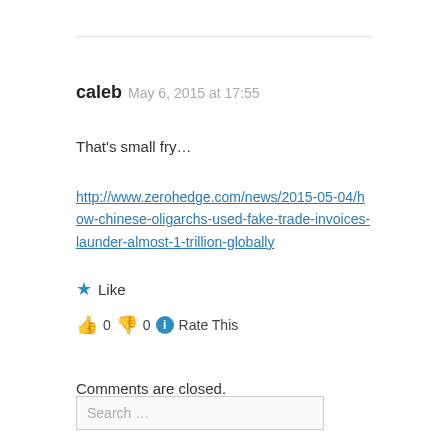caleb  May 6, 2015 at 17:55
That's small fry…
http://www.zerohedge.com/news/2015-05-04/how-chinese-oligarchs-used-fake-trade-invoices-launder-almost-1-trillion-globally
★ Like
👍 0  👎 0  ℹ Rate This
Comments are closed.